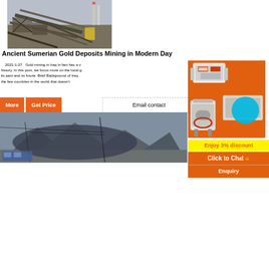[Figure (photo): Industrial mining equipment and conveyor belts at a mining site with industrial chimneys in background]
Ancient Sumerian Gold Deposits Mining in Modern Day
2021-1-27   Gold mining in Iraq in fact has a v... history. In this post, we focus more on the local g... its past and its future. Brief Background of Iraq . ... the few countries in the world that doesn't
[Figure (photo): Orange sidebar panel showing mining machinery equipment images including crushers and mills]
More   Get Price
Email contact
[Figure (photo): Landscape photo showing mountains and power lines]
Enjoy 3% discount
Click to Chat
Enquiry